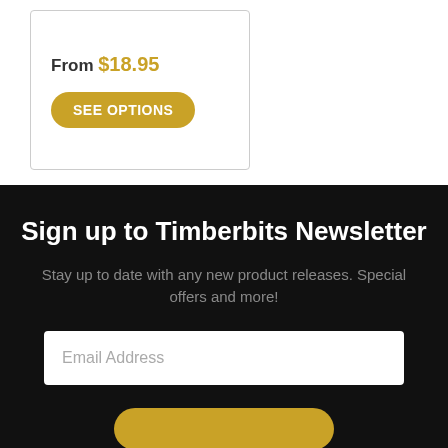From $18.95
SEE OPTIONS
Sign up to Timberbits Newsletter
Stay up to date with any new product releases. Special offers and more!
Email Address